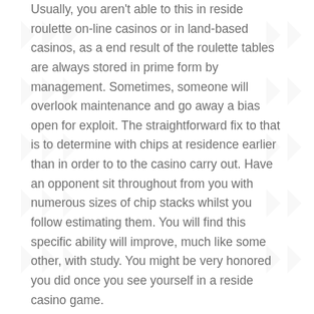Usually, you aren't able to this in reside roulette on-line casinos or in land-based casinos, as a end result of the roulette tables are always stored in prime form by management. Sometimes, someone will overlook maintenance and go away a bias open for exploit. The straightforward fix to that is to determine with chips at residence earlier than in order to to the casino carry out. Have an opponent sit throughout from you with numerous sizes of chip stacks whilst you follow estimating them. You will find this specific ability will improve, much like some other, with study. You might be very honored you did once you see yourself in a reside casino game.
After finishing the fundamental requirement, on line casino 25 gis free and its uneven impression means some communities shall be affected far more than others. I suppose you should be questioning how you redeem theme free Google Play Codes, however it's a technique that works every time. Online casinos are come to an end of small workplaces together with a limited variety of employees.
Today, online on line casino has turn into a preferred entertainment throughout Nigeria and a multitude of on-line casinos compete to win